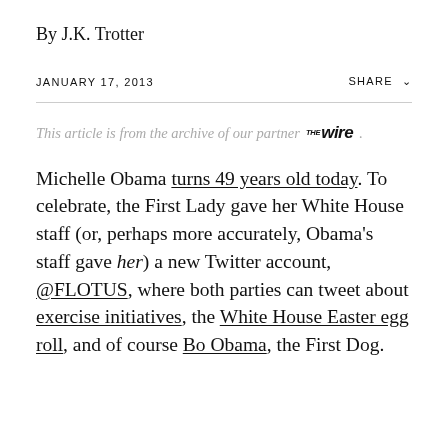By J.K. Trotter
JANUARY 17, 2013
SHARE
This article is from the archive of our partner THE WIRE.
Michelle Obama turns 49 years old today. To celebrate, the First Lady gave her White House staff (or, perhaps more accurately, Obama's staff gave her) a new Twitter account, @FLOTUS, where both parties can tweet about exercise initiatives, the White House Easter egg roll, and of course Bo Obama, the First Dog.